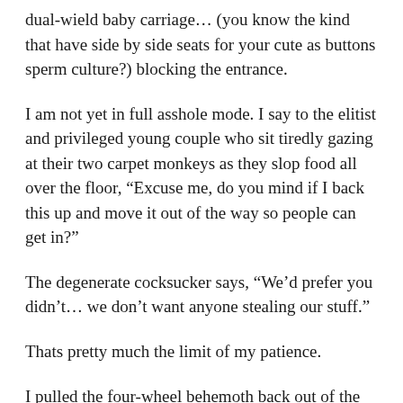dual-wield baby carriage… (you know the kind that have side by side seats for your cute as buttons sperm culture?) blocking the entrance.
I am not yet in full asshole mode. I say to the elitist and privileged young couple who sit tiredly gazing at their two carpet monkeys as they slop food all over the floor, “Excuse me, do you mind if I back this up and move it out of the way so people can get in?”
The degenerate cocksucker says, “We’d prefer you didn’t… we don’t want anyone stealing our stuff.”
Thats pretty much the limit of my patience.
I pulled the four-wheel behemoth back out of the